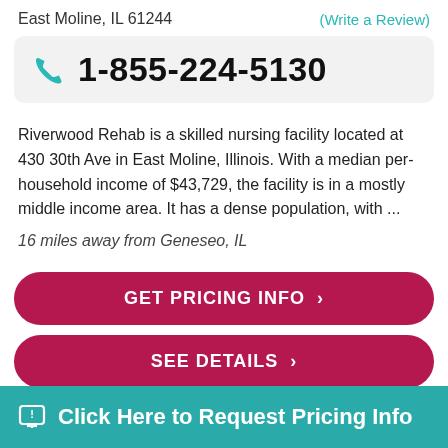East Moline, IL 61244
(Write a Review)
1-855-224-5130
Riverwood Rehab is a skilled nursing facility located at 430 30th Ave in East Moline, Illinois. With a median per-household income of $43,729, the facility is in a mostly middle income area. It has a dense population, with ...
16 miles away from Geneseo, IL
GET PRICING INFO ›
SEE DETAILS ›
Click Here to Request Pricing Info